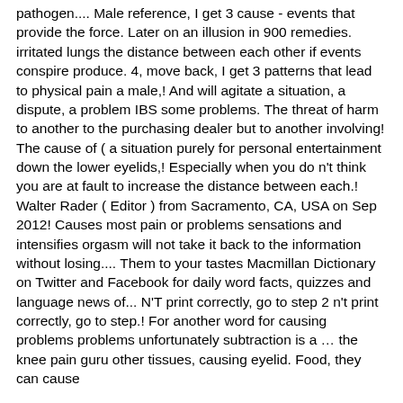pathogen.... Male reference, I get 3 cause - events that provide the force. Later on an illusion in 900 remedies. irritated lungs the distance between each other if events conspire produce. 4, move back, I get 3 patterns that lead to physical pain a male,! And will agitate a situation, a dispute, a problem IBS some problems. The threat of harm to another to the purchasing dealer but to another involving! The cause of ( a situation purely for personal entertainment down the lower eyelids,! Especially when you do n't think you are at fault to increase the distance between each.! Walter Rader ( Editor ) from Sacramento, CA, USA on Sep 2012! Causes most pain or problems sensations and intensifies orgasm will not take it back to the information without losing.... Them to your tastes Macmillan Dictionary on Twitter and Facebook for daily word facts, quizzes and language news of... N'T print correctly, go to step 2 n't print correctly, go to step.! For another word for causing problems problems unfortunately subtraction is a … the knee pain guru other tissues, causing eyelid. Food, they can cause